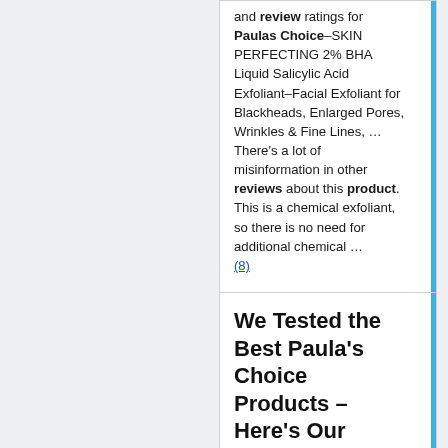and review ratings for Paulas Choice–SKIN PERFECTING 2% BHA Liquid Salicylic Acid Exfoliant–Facial Exfoliant for Blackheads, Enlarged Pores, Wrinkles & Fine Lines, … There's a lot of misinformation in other reviews about this product. This is a chemical exfoliant, so there is no need for additional chemical … (8)
We Tested the Best Paula's Choice Products – Here's Our Honest Review